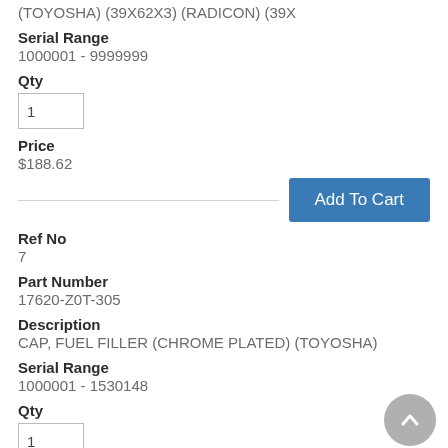(TOYOSHA) (39X62X3) (RADICON) (39X
Serial Range
1000001 - 9999999
Qty
1
Price
$188.62
Add To Cart
Ref No
7
Part Number
17620-Z0T-305
Description
CAP, FUEL FILLER (CHROME PLATED) (TOYOSHA)
Serial Range
1000001 - 1530148
Qty
1
Price